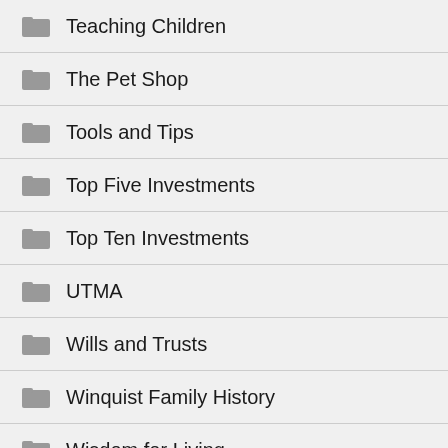Teaching Children
The Pet Shop
Tools and Tips
Top Five Investments
Top Ten Investments
UTMA
Wills and Trusts
Winquist Family History
Wisdom for Living